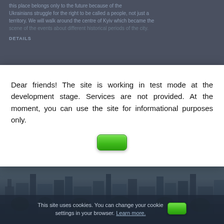this place belongs only to the future because of the Ukrainians struggle for the right to be called a people, not just a territory. We will walk around the centre of Kyiv which became the scene of the events about different historical periods of the city.
DETAILS
Dear friends! The site is working in test mode at the development stage. Services are not provided. At the moment, you can use the site for informational purposes only.
[Figure (other): Green button (OK/Close button for modal dialog)]
[Figure (photo): Aerial or wide-angle photograph of a city skyline (Kyiv), shown dark and dimmed as page background]
This site uses cookies. You can change your cookie settings in your browser. Learn more.